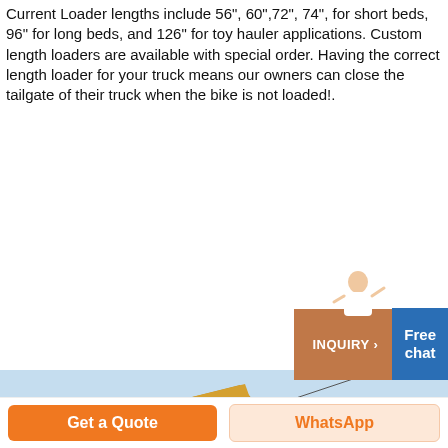Current Loader lengths include 56", 60",72", 74", for short beds, 96" for long beds, and 126" for toy hauler applications. Custom length loaders are available with special order. Having the correct length loader for your truck means our owners can close the tailgate of their truck when the bike is not loaded!.
[Figure (photo): Yellow front-end loader bucket raised against a clear blue sky, with cable wires crossing the frame.]
INQUIRY ›
Free chat
Get a Quote
WhatsApp